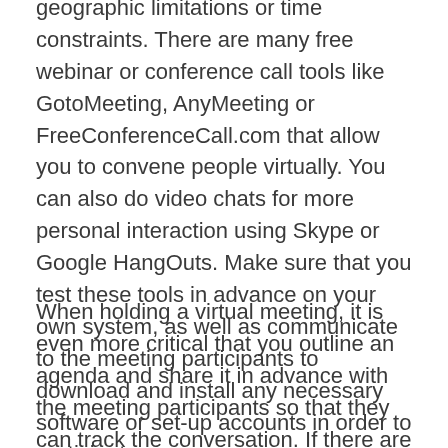geographic limitations or time constraints. There are many free webinar or conference call tools like GotoMeeting, AnyMeeting or FreeConferenceCall.com that allow you to convene people virtually. You can also do video chats for more personal interaction using Skype or Google HangOuts. Make sure that you test these tools in advance on your own system, as well as communicate to the meeting participants to download and install any necessary software or set-up accounts in order to participate.
When holding a virtual meeting, it is even more critical that you outline an agenda and share it in advance with the meeting participants so that they can track the conversation. If there are any additional materials or items they need to prepare or have...